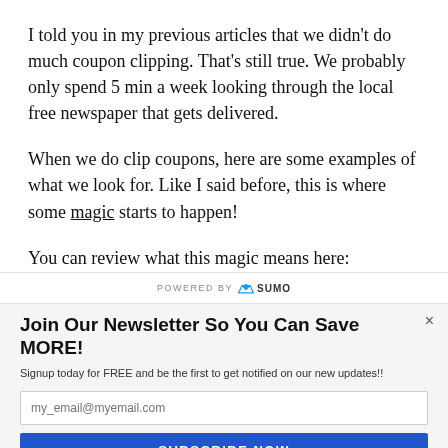I told you in my previous articles that we didn't do much coupon clipping. That's still true. We probably only spend 5 min a week looking through the local free newspaper that gets delivered.
When we do clip coupons, here are some examples of what we look for. Like I said before, this is where some magic starts to happen!
You can review what this magic means here:
[Figure (logo): POWERED BY SUMO logo bar]
Join Our Newsletter So You Can Save MORE!
Signup today for FREE and be the first to get notified on our new updates!!